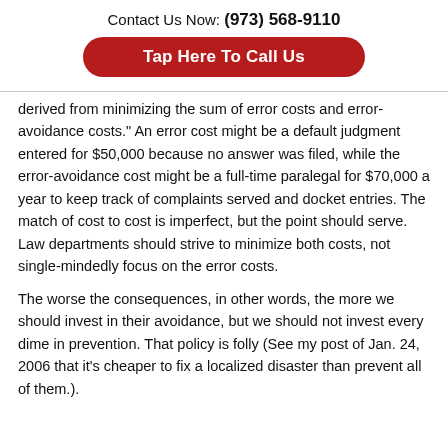Contact Us Now: (973) 568-9110
Tap Here To Call Us
derived from minimizing the sum of error costs and error-avoidance costs." An error cost might be a default judgment entered for $50,000 because no answer was filed, while the error-avoidance cost might be a full-time paralegal for $70,000 a year to keep track of complaints served and docket entries. The match of cost to cost is imperfect, but the point should serve. Law departments should strive to minimize both costs, not single-mindedly focus on the error costs.
The worse the consequences, in other words, the more we should invest in their avoidance, but we should not invest every dime in prevention. That policy is folly (See my post of Jan. 24, 2006 that it’s cheaper to fix a localized disaster than prevent all of them.).